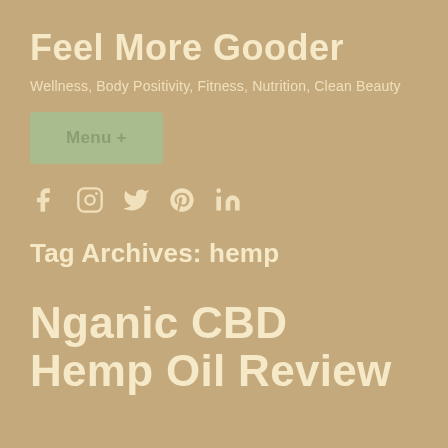Feel More Gooder
Wellness, Body Positivity, Fitness, Nutrition, Clean Beauty
Menu +
[Figure (other): Social media icons: Facebook, Instagram, Twitter, Pinterest, LinkedIn]
Tag Archives: hemp
Nganic CBD Hemp Oil Review